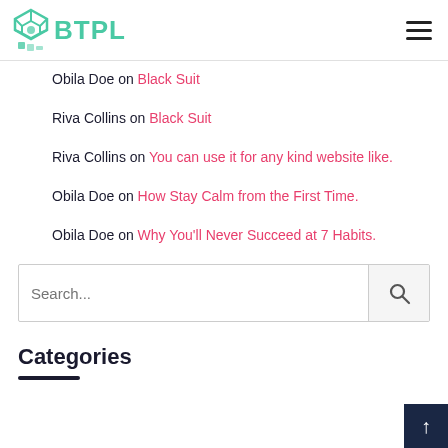BTPL
Obila Doe on Black Suit
Riva Collins on Black Suit
Riva Collins on You can use it for any kind website like.
Obila Doe on How Stay Calm from the First Time.
Obila Doe on Why You'll Never Succeed at 7 Habits.
Categories